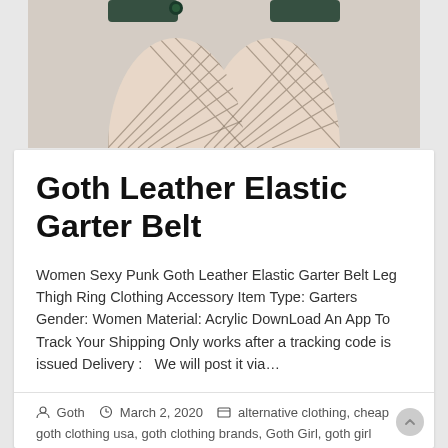[Figure (photo): Photo of a person's legs wearing fishnet stockings with a dark garter belt at the top, against a light background]
Goth Leather Elastic Garter Belt
Women Sexy Punk Goth Leather Elastic Garter Belt Leg Thigh Ring Clothing Accessory Item Type: Garters Gender: Women Material: Acrylic DownLoad An App To Track Your Shipping Only works after a tracking code is issued Delivery :   We will post it via…
Goth  March 2, 2020  alternative clothing, cheap goth clothing usa, goth clothing brands, Goth Girl, goth girl clothing, goth